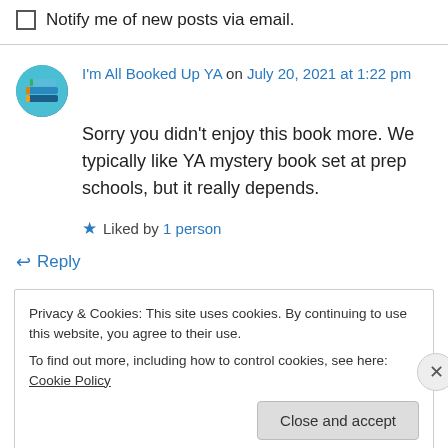Notify me of new posts via email.
I'm All Booked Up YA on July 20, 2021 at 1:22 pm
Sorry you didn't enjoy this book more. We typically like YA mystery book set at prep schools, but it really depends.
Liked by 1 person
Reply
Privacy & Cookies: This site uses cookies. By continuing to use this website, you agree to their use.
To find out more, including how to control cookies, see here: Cookie Policy
Close and accept